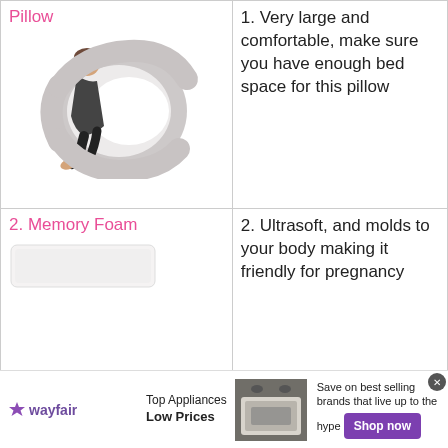[Figure (illustration): Person lying with a large C-shaped body pregnancy pillow (gray), row 1 left column]
1. Very large and comfortable, make sure you have enough bed space for this pillow
2. Memory Foam
[Figure (photo): White rectangular memory foam pillow]
2. Ultrasoft, and molds to your body making it friendly for pregnancy
3. NiDream Pillow
[Figure (photo): Woman reclining on sofa reading, NiDream pillow behind her]
3. Rated #1 for back support in a pregnancy pillow.
[Figure (infographic): Wayfair advertisement banner: Top Appliances Low Prices, image of stove, Save on best selling brands that live up to the hype, Shop now button]